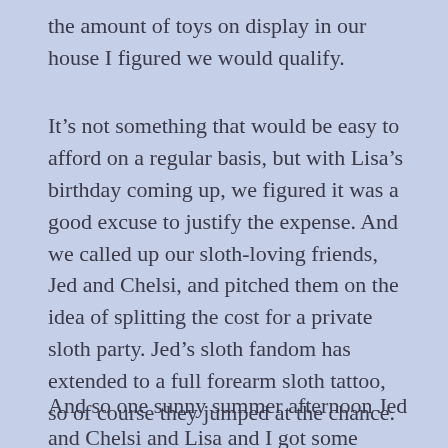the amount of toys on display in our house I figured we would qualify.
It's not something that would be easy to afford on a regular basis, but with Lisa's birthday coming up, we figured it was a good excuse to justify the expense. And we called up our sloth-loving friends, Jed and Chelsi, and pitched them on the idea of splitting the cost for a private sloth party. Jed's sloth fandom has extended to a full forearm sloth tattoo, so of course they jumped at the chance.
And so one sunny summer afternoon Jed and Chelsi and Lisa and I got some